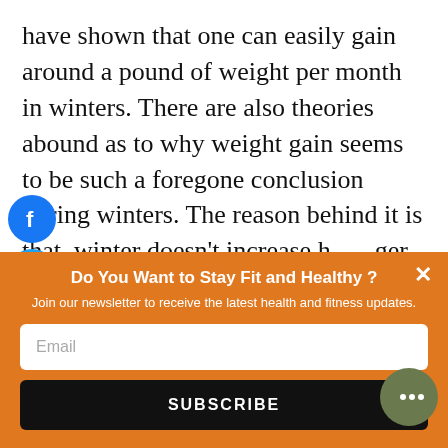have shown that one can easily gain around a pound of weight per month in winters. There are also theories abound as to why weight gain seems to be such a foregone conclusion during winters. The reason behind it is that, winter doesn't increase hunger, rather it reduces thirst. We don't drink the same amount of water as we do in summer months, which leaves us dehydrated. Hunger and thirst centers in the brain are set very close together, and sometimes, we wind up eating because we feel
[Figure (infographic): Social media sharing icons: Facebook (blue circle with f), Twitter (blue circle with bird), Pinterest (red circle with P)]
Do You Want to Stay Fit and Healthy? Join our newsletter to receive the latest health and fitness updates. [Email input] SUBSCRIBE